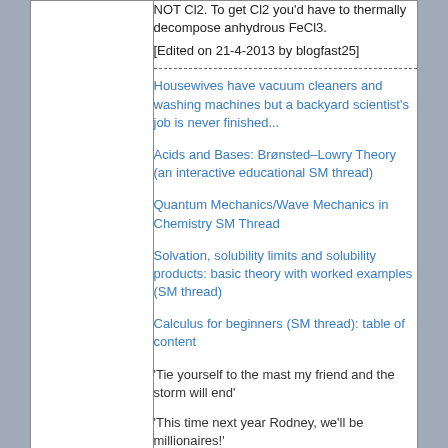NOT Cl2. To get Cl2 you'd have to thermally decompose anhydrous FeCl3.
[Edited on 21-4-2013 by blogfast25]
Housewives have vacuum cleaners and washing machines but a backyard scientist's job is never finished...
Acids and Bases: Brønsted–Lowry Theory (an interactive educational SM thread)
Quantum Mechanics/Wave Mechanics in Chemistry SM Thread
Solvation, solubility limits and solubility products: basic theory with worked examples (SM thread)
Calculus for beginners (SM thread): table of content
'Tie yourself to the mast my friend and the storm will end'
'This time next year Rodney, we'll be millionaires!'
Antiswat
International
posted on 22-4-2013 at 11:33